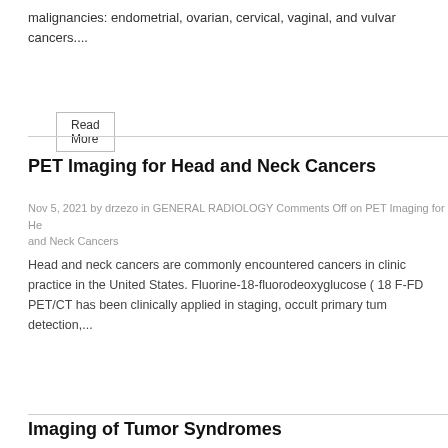malignancies: endometrial, ovarian, cervical, vaginal, and vulvar cancers....
Read More
PET Imaging for Head and Neck Cancers
Nov 5, 2021 by drzezo in GENERAL RADIOLOGY Comments Off on PET Imaging for Head and Neck Cancers
Head and neck cancers are commonly encountered cancers in clinical practice in the United States. Fluorine-18-fluorodeoxyglucose ( 18 F-FDG PET/CT has been clinically applied in staging, occult primary tumor detection,...
Read More
Imaging of Tumor Syndromes
Nov 5, 2021 by drzezo in GENERAL RADIOLOGY Comments Off on Imaging of Tumor Syndromes